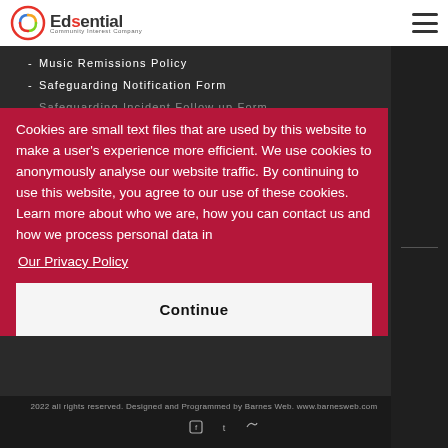[Figure (logo): Edsential Community Interest Company logo with colorful circle icon]
Music Remissions Policy
Safeguarding Notification Form
Safeguarding Incident Follow up Form
Cookies are small text files that are used by this website to make a user's experience more efficient. We use cookies to anonymously analyse our website traffic. By continuing to use this website, you agree to our use of these cookies. Learn more about who we are, how you can contact us and how we process personal data in
Our Privacy Policy
Continue
2022 all rights reserved. Designed and Programmed by Barnes Web. www.barnesweb.com